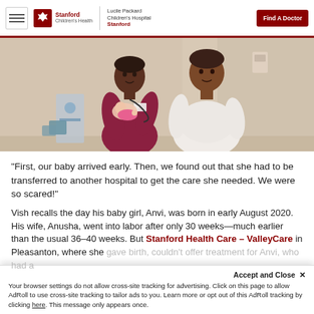Stanford Children's Health | Lucile Packard Children's Hospital Stanford | Find A Doctor
[Figure (photo): A man in a maroon long-sleeve shirt holding a newborn baby dressed in pink, standing next to a woman in a white knit sweater, in a hospital room setting.]
“First, our baby arrived early. Then, we found out that she had to be transferred to another hospital to get the care she needed. We were so scared!”
Vish recalls the day his baby girl, Anvi, was born in early August 2020. His wife, Anusha, went into labor after only 30 weeks—much earlier than the usual 36–40 weeks. But Stanford Health Care – ValleyCare in Pleasanton, where she gave birth, couldn't offer treatment for Anvi, who had a...
Accept and Close × Your browser settings do not allow cross-site tracking for advertising. Click on this page to allow AdRoll to use cross-site tracking to tailor ads to you. Learn more or opt out of this AdRoll tracking by clicking here. This message only appears once.